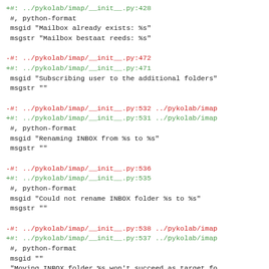+#: ../pykolab/imap/__init__.py:428
 #, python-format
 msgid "Mailbox already exists: %s"
 msgstr "Mailbox bestaat reeds: %s"

-#: ../pykolab/imap/__init__.py:472
+#: ../pykolab/imap/__init__.py:471
 msgid "Subscribing user to the additional folders"
 msgstr ""

-#: ../pykolab/imap/__init__.py:532 ../pykolab/imap
+#: ../pykolab/imap/__init__.py:531 ../pykolab/imap
 #, python-format
 msgid "Renaming INBOX from %s to %s"
 msgstr ""

-#: ../pykolab/imap/__init__.py:536
+#: ../pykolab/imap/__init__.py:535
 #, python-format
 msgid "Could not rename INBOX folder %s to %s"
 msgstr ""

-#: ../pykolab/imap/__init__.py:538 ../pykolab/imap
+#: ../pykolab/imap/__init__.py:537 ../pykolab/imap
 #, python-format
 msgid ""
 "Moving INBOX folder %s won't succeed as target fo
-msgstr ""
+msgstr "Het verplaatsen van INBOX map %s zal niet